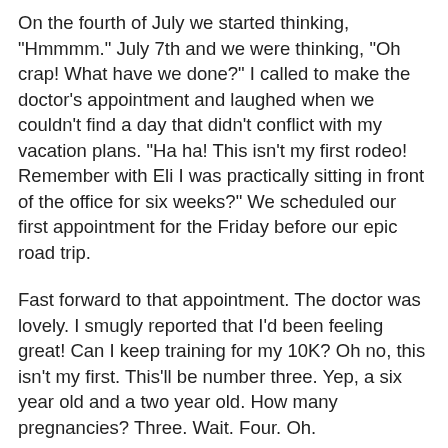On the fourth of July we started thinking, "Hmmmm." July 7th and we were thinking, "Oh crap! What have we done?" I called to make the doctor's appointment and laughed when we couldn't find a day that didn't conflict with my vacation plans. "Ha ha! This isn't my first rodeo! Remember with Eli I was practically sitting in front of the office for six weeks?" We scheduled our first appointment for the Friday before our epic road trip.
Fast forward to that appointment. The doctor was lovely. I smugly reported that I'd been feeling great! Can I keep training for my 10K? Oh no, this isn't my first. This'll be number three. Yep, a six year old and a two year old. How many pregnancies? Three. Wait. Four. Oh.
That one. We don't talk about That one. It was three years ago. Six weeks pregnant and excited to give Eli a little brother or sister. C, Eli, and I went on a road trip to Duluth, where we had grand plans of seeing the Great Lakes and the Duluth Zoo. On the way up, C and I joked that we needed to come up with a nickname for this one before he/she was forever branded "New one." We stayed in some